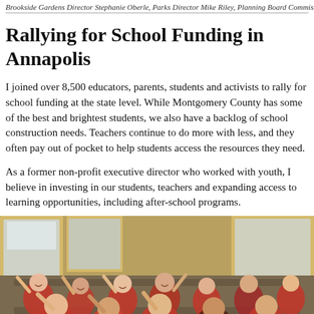Brookside Gardens Director Stephanie Oberle, Parks Director Mike Riley, Planning Board Commis…
Rallying for School Funding in Annapolis
I joined over 8,500 educators, parents, students and activists to rally for school funding at the state level. While Montgomery County has some of the best and brightest students, we also have a backlog of school construction needs. Teachers continue to do more with less, and they often pay out of pocket to help students access the resources they need.
As a former non-profit executive director who worked with youth, I believe in investing in our students, teachers and expanding access to learning opportunities, including after-school programs.
[Figure (photo): Group of people, many wearing red, sitting on a school bus and waving at the camera, smiling.]